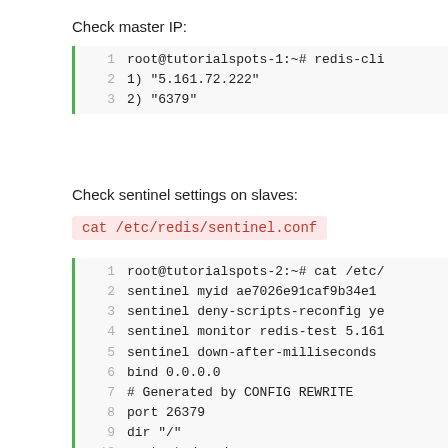Check master IP:
1  root@tutorialspots-1:~# redis-cli
2  1) "5.161.72.222"
3  2) "6379"
Check sentinel settings on slaves:
cat /etc/redis/sentinel.conf
1   root@tutorialspots-2:~# cat /etc/
2   sentinel myid ae7026e91caf9b34e1
3   sentinel deny-scripts-reconfig ye
4   sentinel monitor redis-test 5.161
5   sentinel down-after-milliseconds
6   bind 0.0.0.0
7   # Generated by CONFIG REWRITE
8   port 26379
9   dir "/"
10  protected-mode no
11  sentinel failover-timeout redis-t
12  sentinel config-epoch redis-test
13  sentinel...